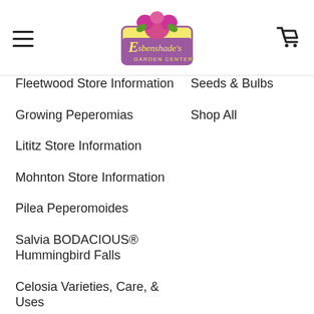Esbenshade's Garden Centers
Fleetwood Store Information
Seeds & Bulbs
Growing Peperomias
Shop All
Lititz Store Information
Mohnton Store Information
Pilea Peperomoides
Salvia BODACIOUS® Hummingbird Falls
Celosia Varieties, Care, & Uses
Grow Ornamental Peppers to Heat Up Your Fall Décor
Purple Fountain Grass: The plant, the care and the inspiration.
Late Season into Fall...